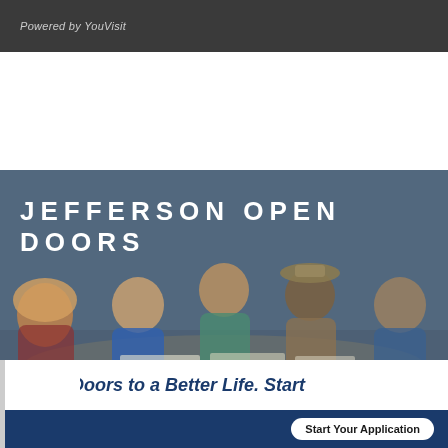Powered by YouVisit
[Figure (photo): Group of five diverse students sitting around a table studying together in a modern room with large windows. Students include a woman wearing a hijab, a man in a blue shirt, a woman in a green jacket, a man in a hat, and another student.]
JEFFERSON OPEN DOORS
Open Doors to a Better Life. Start
Start Your Application